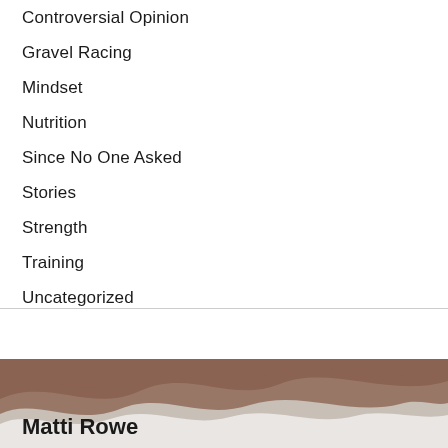Controversial Opinion
Gravel Racing
Mindset
Nutrition
Since No One Asked
Stories
Strength
Training
Uncategorized
[Figure (illustration): Layered wavy hills illustration in beige, light gray, and brown tones forming a footer decoration]
Matti Rowe